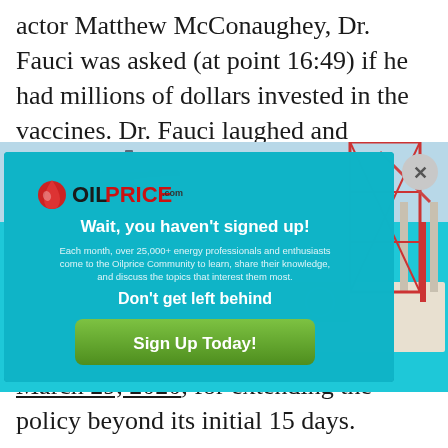actor Matthew McConaughey, Dr. Fauci was asked (at point 16:49) if he had millions of dollars invested in the vaccines. Dr. Fauci laughed and
[Figure (screenshot): OilPrice.com popup advertisement modal over a teal ocean background with an oil rig on the right side. Features the OilPrice.com logo with red oil drop icon, headline 'Wait, you haven't signed up!', body text about 25,000+ energy professionals and enthusiasts, subheadline 'Don't get left behind', and a green 'Sign Up Today!' button. A circular close button (X) appears at top right.]
day lockdown policy to try and flatten the curve, and reportedly advocated on March 29, 2020, for extending the policy beyond its initial 15 days.